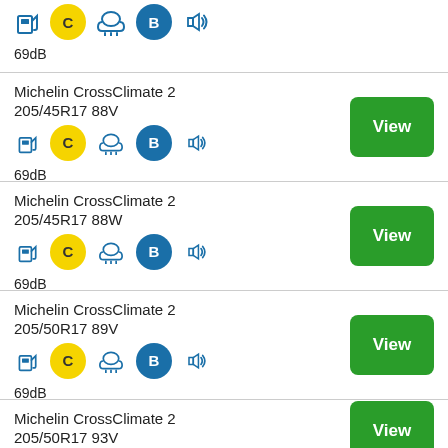69dB
Michelin CrossClimate 2
205/45R17 88V
69dB
Michelin CrossClimate 2
205/45R17 88W
69dB
Michelin CrossClimate 2
205/50R17 89V
69dB
Michelin CrossClimate 2
205/50R17 93V